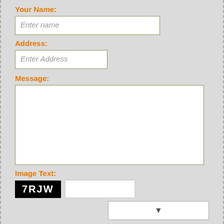Your Name:
[Figure (screenshot): Text input field with placeholder 'Enter name']
Address:
[Figure (screenshot): Text input field with placeholder 'Enter Address']
Message:
[Figure (screenshot): Large textarea for message input]
Image Text:
[Figure (screenshot): CAPTCHA image showing '7RJW' in white text on black background, with an adjacent text input field]
[Figure (screenshot): Submit button (partially visible at bottom)]